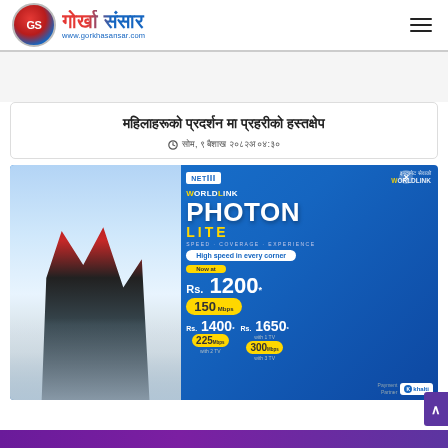गोर्खा संसार - www.gorkhasansar.com
महिलाहरूको प्रदर्शन मा प्रहरीको हस्तक्षेप
सोम, ९ बैशाख २०८२अ ०४:३०
[Figure (photo): WorldLink Photon Lite advertisement banner featuring a mountaineer in winter gear on the left and promotional pricing details on the right including Rs. 1200 for 150 Mbps, Rs. 1400 with 1 TV for 225 Mbps, Rs. 1650 with 3 TV for 300 Mbps. NETIII logo top left, Payment Partner Khalti bottom right. High speed in every corner tagline.]